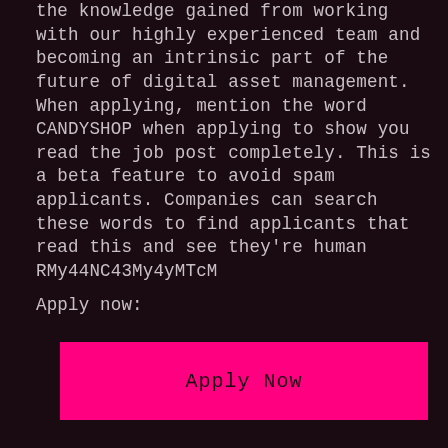the knowledge gained from working with our highly experienced team and becoming an intrinsic part of the future of digital asset management.
When applying, mention the word CANDYSHOP when applying to show you read the job post completely. This is a beta feature to avoid spam applicants. Companies can search these words to find applicants that read this and see they're human RMy44NC43My4yMTcM
Apply now:
[Figure (other): Pink/magenta 'Apply Now' button]